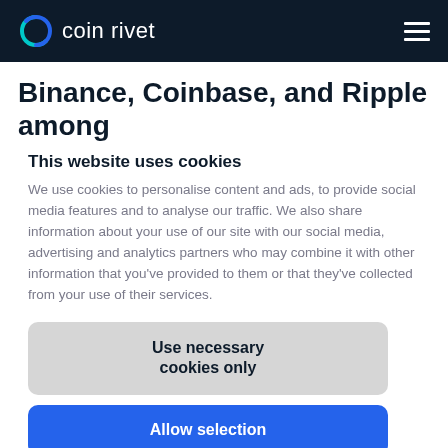coin rivet
Binance, Coinbase, and Ripple among
This website uses cookies
We use cookies to personalise content and ads, to provide social media features and to analyse our traffic. We also share information about your use of our site with our social media, advertising and analytics partners who may combine it with other information that you've provided to them or that they've collected from your use of their services.
Use necessary cookies only
Allow selection